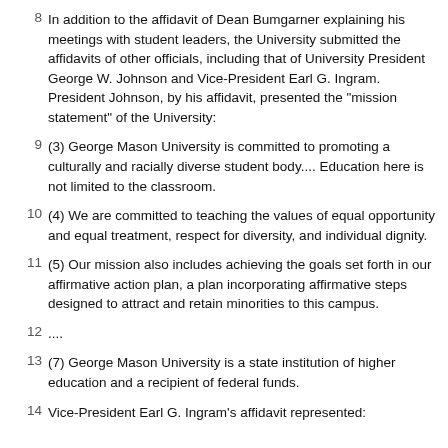In addition to the affidavit of Dean Bumgarner explaining his meetings with student leaders, the University submitted the affidavits of other officials, including that of University President George W. Johnson and Vice-President Earl G. Ingram. President Johnson, by his affidavit, presented the "mission statement" of the University:
(3) George Mason University is committed to promoting a culturally and racially diverse student body.... Education here is not limited to the classroom.
(4) We are committed to teaching the values of equal opportunity and equal treatment, respect for diversity, and individual dignity.
(5) Our mission also includes achieving the goals set forth in our affirmative action plan, a plan incorporating affirmative steps designed to attract and retain minorities to this campus.
....
(7) George Mason University is a state institution of higher education and a recipient of federal funds.
Vice-President Earl G. Ingram's affidavit represented: